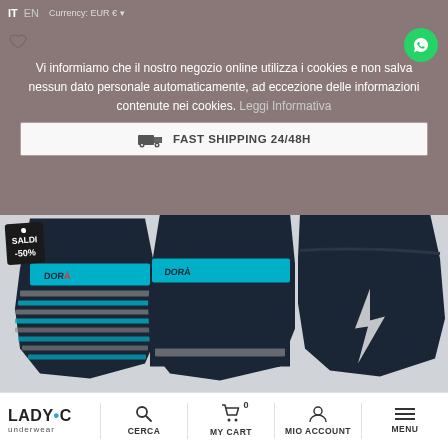IT  EN  Currency: EUR €  ×
Vi informiamo che il nostro negozio online utilizza i cookies e non salva nessun dato personale automaticamente, ad eccezione delle informazioni contenute nei cookies. Leggi Informativa
FAST SHIPPING 24/48H
[Figure (photo): Three pairs of Diadora ankle socks displayed folded: left sock has blue/grey horizontal stripes with teal ankle band, middle sock is navy with teal ankle band, right sock is solid navy with lightning bolt logo. A sale tag reads SALDI -50%.]
LADY•C underwear  CERCA  MY CART 0  MIO ACCOUNT  MENU